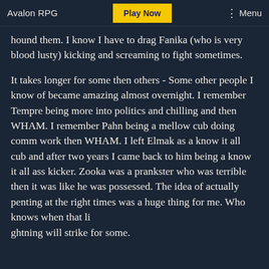Avalon RPG | Play Now | Menu
hound them. I know I have to drag Fanika (who is very blood lusty) kicking and screaming to fight sometimes.

It takes longer for some then others - Some other people I know of became amazing almost overnight. I remember Tempre being more into politics and chilling and then WHAM. I remember Pahn being a mellow cub doing comm work then WHAM. I left Elmak as a know it all cub and after two years I came back to him being a know it all ass kicker. Zooka was a prankster who was terrible then it was like he was possessed. The idea of actually penting at the right times was a huge thing for me. Who knows when that li
ghtning will strike for some.